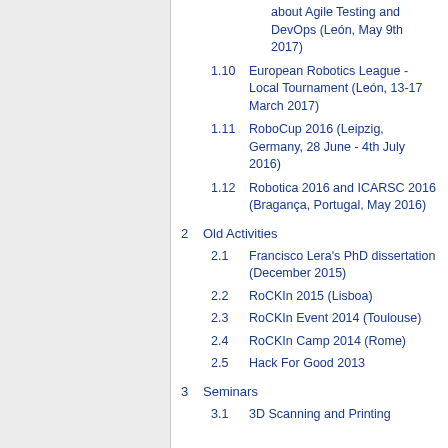about Agile Testing and DevOps (León, May 9th 2017)
1.10  European Robotics League - Local Tournament (León, 13-17 March 2017)
1.11  RoboCup 2016 (Leipzig, Germany, 28 June - 4th July 2016)
1.12  Robotica 2016 and ICARSC 2016 (Bragança, Portugal, May 2016)
2  Old Activities
2.1  Francisco Lera's PhD dissertation (December 2015)
2.2  RoCKIn 2015 (Lisboa)
2.3  RoCKIn Event 2014 (Toulouse)
2.4  RoCKIn Camp 2014 (Rome)
2.5  Hack For Good 2013
3  Seminars
3.1  3D Scanning and Printing